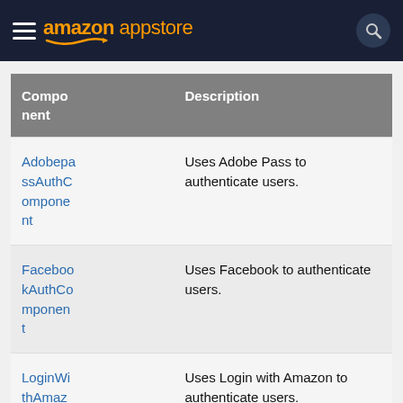amazon appstore
| Component | Description |
| --- | --- |
| AdobepassAuthComponent | Uses Adobe Pass to authenticate users. |
| FacebookAuthComponent | Uses Facebook to authenticate users. |
| LoginWithAmazon | Uses Login with Amazon to authenticate users. |